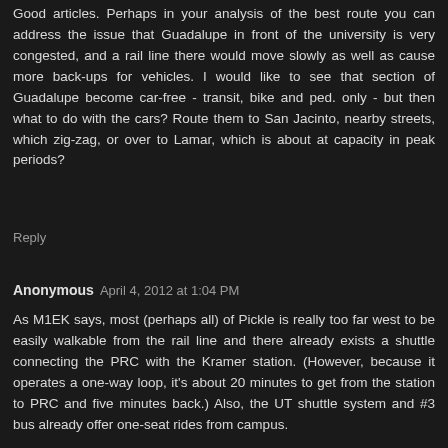Good articles. Perhaps in your analysis of the best route you can address the issue that Guadalupe in front of the university is very congested, and a rail line there would move slowly as well as cause more back-ups for vehicles. I would like to see that section of Guadalupe become car-free - transit, bike and ped. only - but then what to do with the cars? Route them to San Jacinto, nearby streets, which zig-zag, or over to Lamar, which is about at capacity in peak periods?
Reply
Anonymous April 4, 2012 at 1:04 PM
As M1EK says, most (perhaps all) of Pickle is really too far west to be easily walkable from the rail line and there already exists a shuttle connecting the PRC with the Kramer station. (However, because it operates a one-way loop, it's about 20 minutes to get from the station to PRC and five minutes back.) Also, the UT shuttle system and #3 bus already offer one-seat rides from campus.